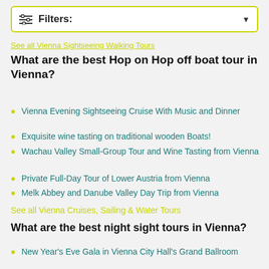[Figure (other): Filter dropdown UI element with sliders icon and label 'Filters:' with dropdown arrow]
See all Vienna Sightseeing Walking Tours
What are the best Hop on Hop off boat tour in Vienna?
Vienna Evening Sightseeing Cruise With Music and Dinner
Exquisite wine tasting on traditional wooden Boats!
Wachau Valley Small-Group Tour and Wine Tasting from Vienna
Private Full-Day Tour of Lower Austria from Vienna
Melk Abbey and Danube Valley Day Trip from Vienna
See all Vienna Cruises, Sailing & Water Tours
What are the best night sight tours in Vienna?
New Year's Eve Gala in Vienna City Hall's Grand Ballroom